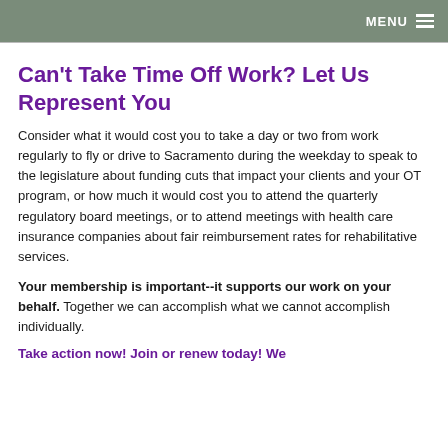MENU
Can't Take Time Off Work? Let Us Represent You
Consider what it would cost you to take a day or two from work regularly to fly or drive to Sacramento during the weekday to speak to the legislature about funding cuts that impact your clients and your OT program, or how much it would cost you to attend the quarterly regulatory board meetings, or to attend meetings with health care insurance companies about fair reimbursement rates for rehabilitative services.
Your membership is important--it supports our work on your behalf. Together we can accomplish what we cannot accomplish individually.
Take action now! Join or renew today! We